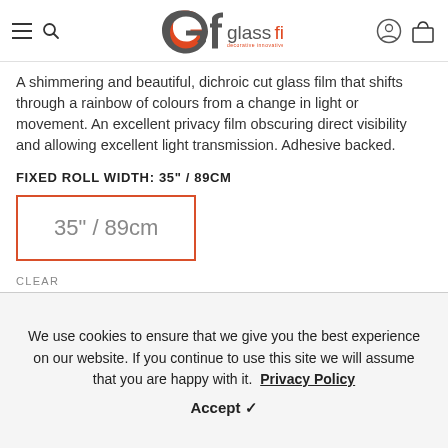glassfilms - decorative innovative architectural
A shimmering and beautiful, dichroic cut glass film that shifts through a rainbow of colours from a change in light or movement. An excellent privacy film obscuring direct visibility and allowing excellent light transmission. Adhesive backed.
FIXED ROLL WIDTH: 35" / 89CM
35" / 89cm
CLEAR
We use cookies to ensure that we give you the best experience on our website. If you continue to use this site we will assume that you are happy with it. Privacy Policy Accept ✓